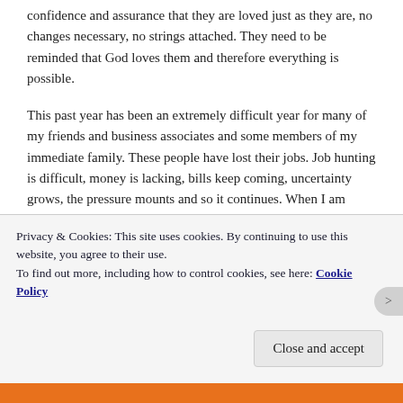confidence and assurance that they are loved just as they are, no changes necessary, no strings attached. They need to be reminded that God loves them and therefore everything is possible.
This past year has been an extremely difficult year for many of my friends and business associates and some members of my immediate family. These people have lost their jobs. Job hunting is difficult, money is lacking, bills keep coming, uncertainty grows, the pressure mounts and so it continues. When I am asked for advice I try to help. I can offer suggestions about how to make the job hunt more fruitful.  I can offer to help with new contacts or references. I can help family members with a small short-
Privacy & Cookies: This site uses cookies. By continuing to use this website, you agree to their use.
To find out more, including how to control cookies, see here: Cookie Policy